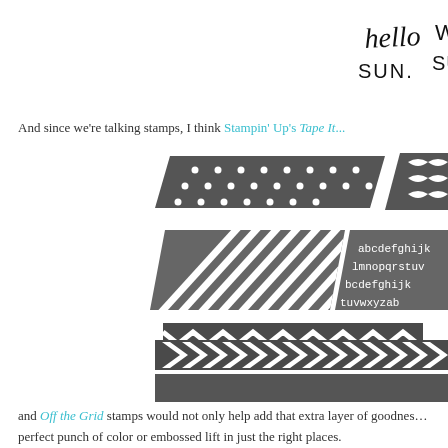[Figure (illustration): Handwritten style stamp text showing 'hello SUN. We heart SUMMER.' in black marker style lettering on white background, partially cropped at right edge]
And since we're talking stamps, I think Stampin' Up's Tape It...
[Figure (photo): Collection of washi tape stamp images showing various patterns: polka dots, leaf/botanical, diagonal stripes, alphabet letters, chevron zigzag, large arrow chevrons, and houndstooth check patterns, all in grayscale]
and Off the Grid stamps would not only help add that extra layer of goodness perfect punch of color or embossed lift in just the right places.